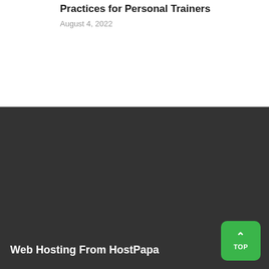Practices for Personal Trainers
August 4, 2022
Web Hosting From HostPapa
Shared Web Hosting
Windows Web Hosting (Coming Soon)
VPS Hosting
Managed WordPress Hosting(Coming Soon)